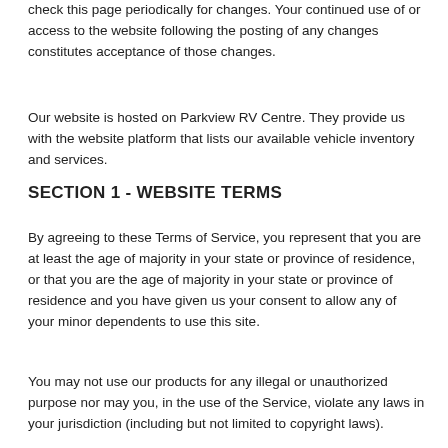check this page periodically for changes. Your continued use of or access to the website following the posting of any changes constitutes acceptance of those changes.
Our website is hosted on Parkview RV Centre. They provide us with the website platform that lists our available vehicle inventory and services.
SECTION 1 - WEBSITE TERMS
By agreeing to these Terms of Service, you represent that you are at least the age of majority in your state or province of residence, or that you are the age of majority in your state or province of residence and you have given us your consent to allow any of your minor dependents to use this site.
You may not use our products for any illegal or unauthorized purpose nor may you, in the use of the Service, violate any laws in your jurisdiction (including but not limited to copyright laws).